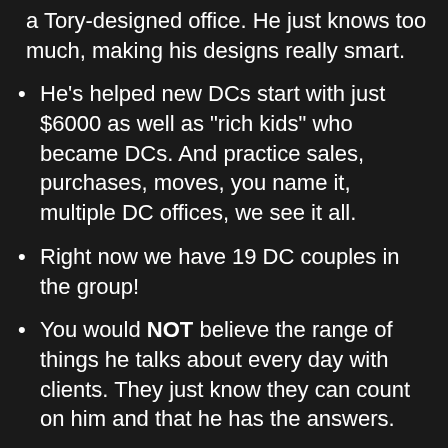a Tory-designed office. He just knows too much, making his designs really smart.
He's helped new DCs start with just $6000 as well as "rich kids" who became DCs. And practice sales, purchases, moves, you name it, multiple DC offices, we see it all.
Right now we have 19 DC couples in the group!
You would NOT believe the range of things he talks about every day with clients. They just know they can count on him and that he has the answers.
DCs love his military experience.  It really is invaluable and another critical advantage he has as a consultant. His direct and clear style